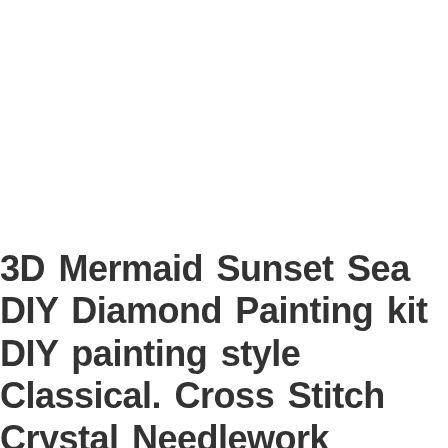3D Mermaid Sunset Sea DIY Diamond Painting kit DIY painting style Classical. Cross Stitch Crystal Needlework Embroidery.Diamond Mosaic Beauty Goddess C…